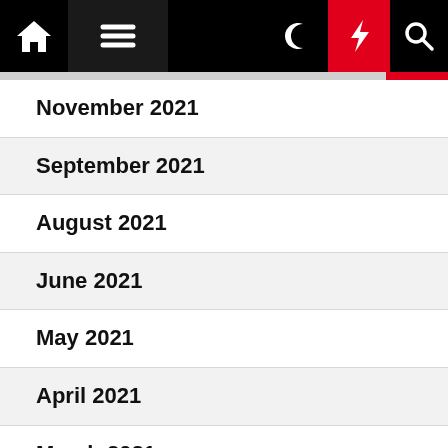Navigation bar with home, menu, dark mode, lightning, and search icons
November 2021
September 2021
August 2021
June 2021
May 2021
April 2021
March 2021
February 2021
December 2020